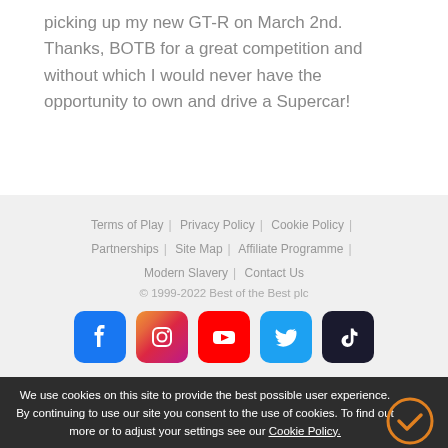picking up my new GT-R on March 2nd. Thanks, BOTB for a great competition and without which I would never have the opportunity to own and drive a Supercar!
Terms of Play | Privacy Policy | Cookie Policy | Partnerships | Site Map | Affiliate Programme | Modern Slavery | Contact Us
© 1999-2022 Best of the Best plc
[Figure (other): Social media icons: Facebook, Instagram, YouTube, Twitter, TikTok]
We use cookies on this site to provide the best possible user experience. By continuing to use our site you consent to the use of cookies. To find out more or to adjust your settings see our Cookie Policy.